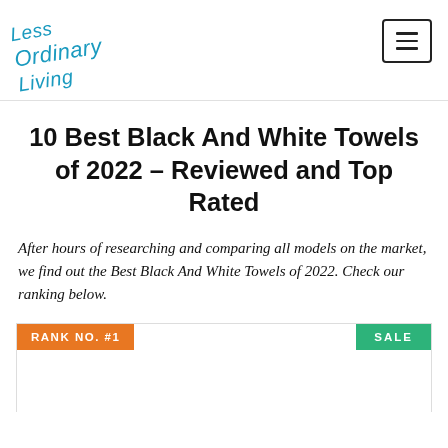Less Ordinary Living
10 Best Black And White Towels of 2022 – Reviewed and Top Rated
After hours of researching and comparing all models on the market, we find out the Best Black And White Towels of 2022. Check our ranking below.
RANK NO. #1   SALE